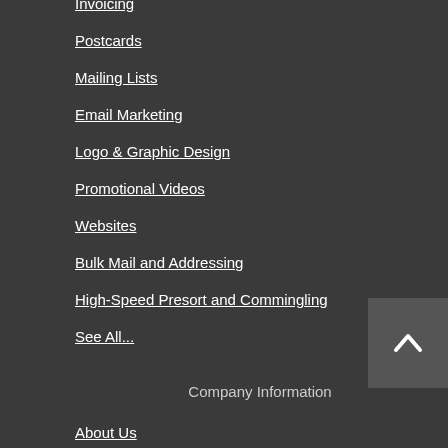Invoicing
Postcards
Mailing Lists
Email Marketing
Logo & Graphic Design
Promotional Videos
Websites
Bulk Mail and Addressing
High-Speed Presort and Commingling
See All...
Company Information
About Us
Contact Us
Frequently Asked Questions
Submit Artwork
Pay a Bill